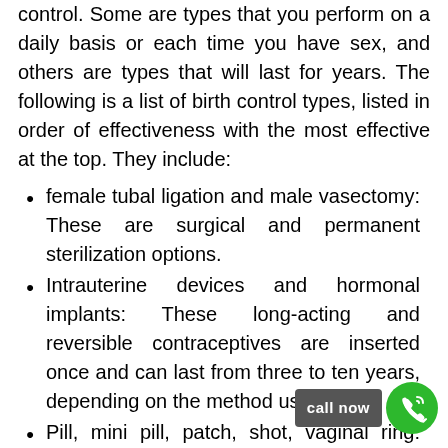control. Some are types that you perform on a daily basis or each time you have sex, and others are types that will last for years. The following is a list of birth control types, listed in order of effectiveness with the most effective at the top. They include:
female tubal ligation and male vasectomy: These are surgical and permanent sterilization options.
Intrauterine devices and hormonal implants: These long-acting and reversible contraceptives are inserted once and can last from three to ten years, depending on the method used
Pill, mini pill, patch, shot, vaginal ring: These short-acting hormonal methods that last for a short period of time. The Birth Control pill is the most popular but it must be taken daily.
Condoms, diaphragms, sponges, caps: These barrier methods require you to use them